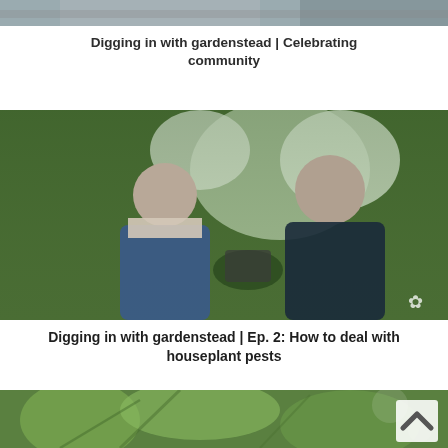[Figure (photo): Top portion of a photo cropped at top, showing people in a garden setting]
Digging in with gardenstead | Celebrating community
[Figure (photo): Two people sitting outdoors in a lush garden with white flowers; woman in blue denim overalls on left, man in dark polo shirt on right, mid-conversation]
Digging in with gardenstead | Ep. 2: How to deal with houseplant pests
[Figure (photo): Close-up of green plant leaves with shallow depth of field, with a scroll-up button overlay in bottom right]